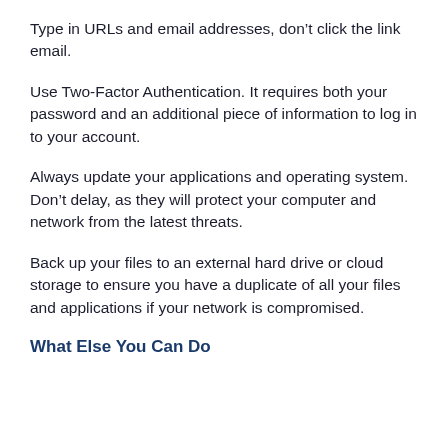Type in URLs and email addresses, don’t click the link email.
Use Two-Factor Authentication. It requires both your password and an additional piece of information to log in to your account.
Always update your applications and operating system. Don’t delay, as they will protect your computer and network from the latest threats.
Back up your files to an external hard drive or cloud storage to ensure you have a duplicate of all your files and applications if your network is compromised.
What Else You Can Do